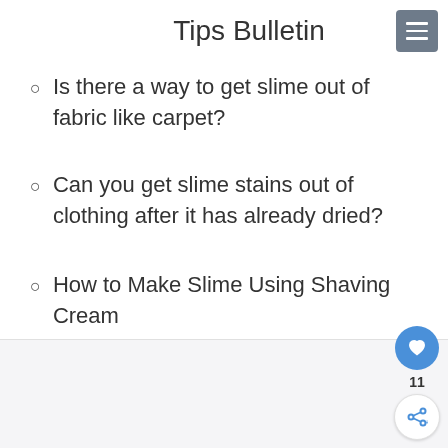Tips Bulletin
Is there a way to get slime out of fabric like carpet?
Can you get slime stains out of clothing after it has already dried?
How to Make Slime Using Shaving Cream